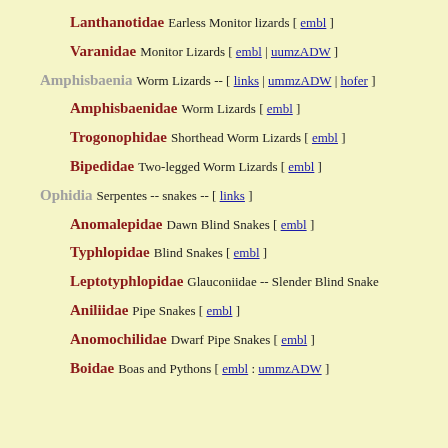Lanthanotidae Earless Monitor lizards [ embl ]
Varanidae Monitor Lizards [ embl | uumzADW ]
Amphisbaenia Worm Lizards -- [ links | ummzADW | hofer ]
Amphisbaenidae Worm Lizards [ embl ]
Trogonophidae Shorthead Worm Lizards [ embl ]
Bipedidae Two-legged Worm Lizards [ embl ]
Ophidia Serpentes -- snakes -- [ links ]
Anomalepidae Dawn Blind Snakes [ embl ]
Typhlopidae Blind Snakes [ embl ]
Leptotyphlopidae Glauconiidae -- Slender Blind Snake
Aniliidae Pipe Snakes [ embl ]
Anomochilidae Dwarf Pipe Snakes [ embl ]
Boidae Boas and Pythons [ embl : ummzADW ]